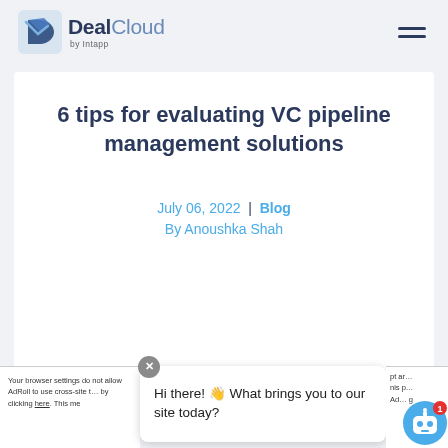[Figure (logo): DealCloud by Intapp logo with navigation hamburger menu]
6 tips for evaluating VC pipeline management solutions
July 06, 2022 | Blog
By Anoushka Shah
Hi there! 👋 What brings you to our site today?
Your browser settings do not allow AdRoll to use cross-site tracking by clicking here. This me